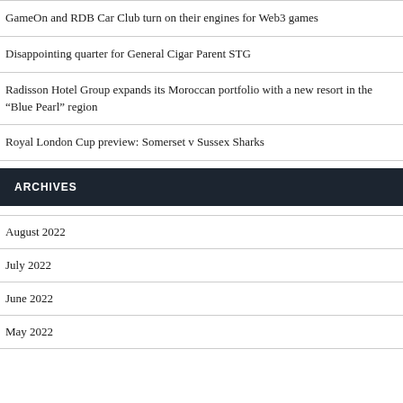GameOn and RDB Car Club turn on their engines for Web3 games
Disappointing quarter for General Cigar Parent STG
Radisson Hotel Group expands its Moroccan portfolio with a new resort in the “Blue Pearl” region
Royal London Cup preview: Somerset v Sussex Sharks
ARCHIVES
August 2022
July 2022
June 2022
May 2022